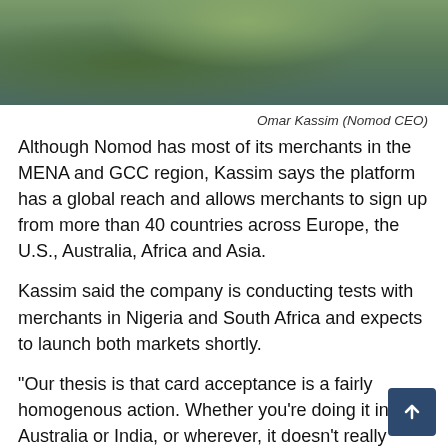[Figure (photo): Photo of Omar Kassim (Nomod CEO), cropped showing shoulders and background foliage]
Omar Kassim (Nomod CEO)
Although Nomod has most of its merchants in the MENA and GCC region, Kassim says the platform has a global reach and allows merchants to sign up from more than 40 countries across Europe, the U.S., Australia, Africa and Asia.
Kassim said the company is conducting tests with merchants in Nigeria and South Africa and expects to launch both markets shortly.
“Our thesis is that card acceptance is a fairly homogenous action. Whether you’re doing it in Australia or India, or wherever, it doesn’t really matter. We feel like we can do a lot of markets in parallel, and today, we allow merchants to sign up from 44 different countries to use our platform.”
For now, Nomod can acquire and settle merchants in the